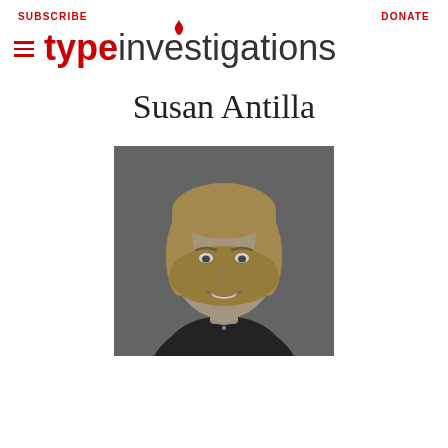SUBSCRIBE    DONATE
[Figure (logo): Type Investigations logo with hamburger menu icon, red flame above the letter i, red bold 'type' and black regular 'investigations']
Susan Antilla
[Figure (photo): Black and white professional headshot of Susan Antilla, a woman with shoulder-length blonde hair and bangs, smiling, wearing a dark blazer and a necklace]